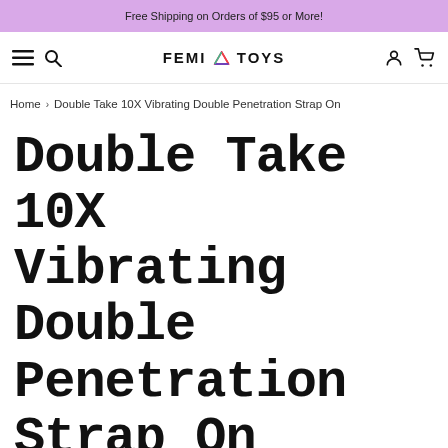Free Shipping on Orders of $95 or More!
[Figure (logo): FEMI TOYS brand logo with navigation icons (hamburger menu, search, user account, shopping cart)]
Home > Double Take 10X Vibrating Double Penetration Strap On
Double Take 10X Vibrating Double Penetration Strap On